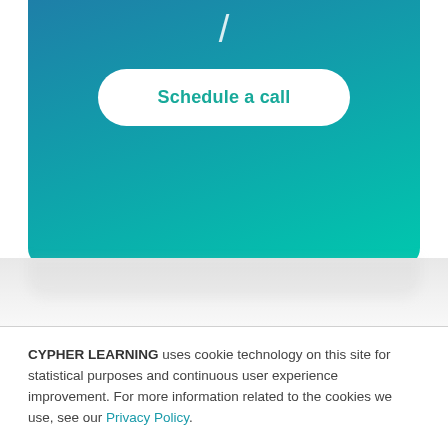[Figure (screenshot): Teal/cyan gradient card with a forward slash character partially visible at top, and a 'Schedule a call' button in white with rounded corners]
CYPHER LEARNING uses cookie technology on this site for statistical purposes and continuous user experience improvement. For more information related to the cookies we use, see our Privacy Policy.
If you decline, your information won't be tracked when you visit this website.
Accept
Decline